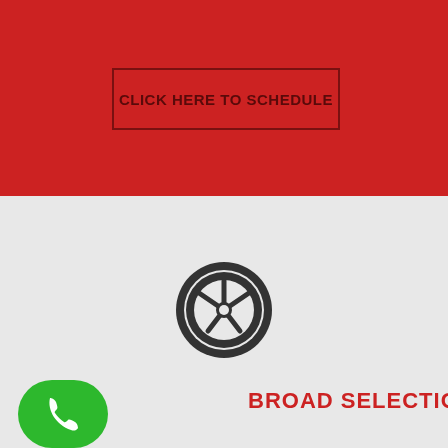CLICK HERE TO SCHEDULE
[Figure (illustration): Wheel/tire icon in dark gray on light gray background]
[Figure (illustration): Green phone badge with white telephone handset icon]
BROAD SELECTION